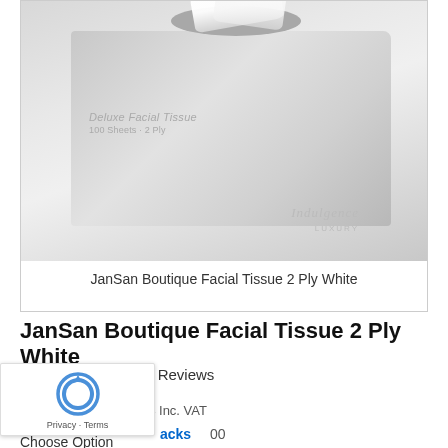[Figure (photo): Product photo of a grey rectangular tissue box labeled 'Deluxe Facial Tissue' with 'Indulgence' branding, with white tissues protruding from the top opening.]
JanSan Boutique Facial Tissue 2 Ply White
JanSan Boutique Facial Tissue 2 Ply White
★★★★★  |  2 - Reviews
£23.95  £28.74 Inc. VAT
acks
00
Choose Option